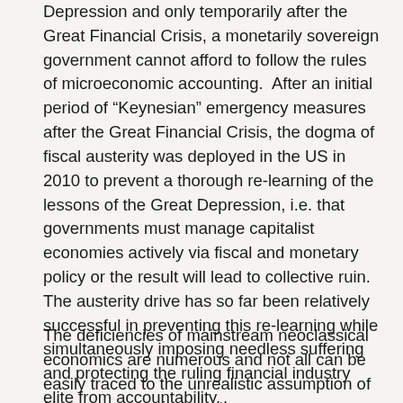Depression and only temporarily after the Great Financial Crisis, a monetarily sovereign government cannot afford to follow the rules of microeconomic accounting. After an initial period of “Keynesian” emergency measures after the Great Financial Crisis, the dogma of fiscal austerity was deployed in the US in 2010 to prevent a thorough re-learning of the lessons of the Great Depression, i.e. that governments must manage capitalist economies actively via fiscal and monetary policy or the result will lead to collective ruin. The austerity drive has so far been relatively successful in preventing this re-learning while simultaneously imposing needless suffering and protecting the ruling financial industry elite from accountability.
The deficiencies of mainstream neoclassical economics are numerous and not all can be easily traced to the unrealistic assumption of Homo oeconomicus, or the